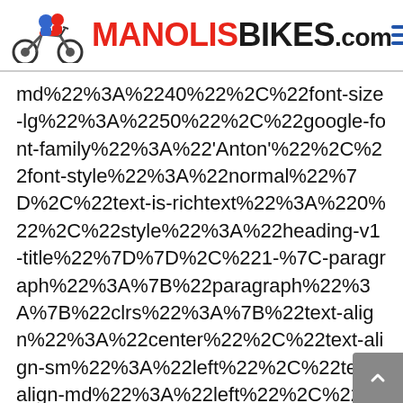MANOLISBIKES.com
md%22%3A%2240%22%2C%22font-size-lg%22%3A%2250%22%2C%22google-font-family%22%3A%22'Anton'%22%2C%22font-style%22%3A%22normal%22%7D%2C%22text-is-richtext%22%3A%220%22%2C%22style%22%3A%22heading-v1-title%22%7D%7D%2C%221-%7C-paragraph%22%3A%7B%22paragraph%22%3A%7B%22clrs%22%3A%7B%22text-align%22%3A%22center%22%2C%22text-align-sm%22%3A%22left%22%2C%22text-align-md%22%3A%22left%22%2C%22text-align-